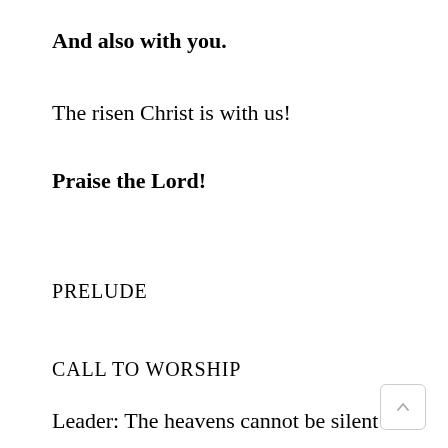And also with you.
The risen Christ is with us!
Praise the Lord!
PRELUDE
CALL TO WORSHIP
Leader: The heavens cannot be silent